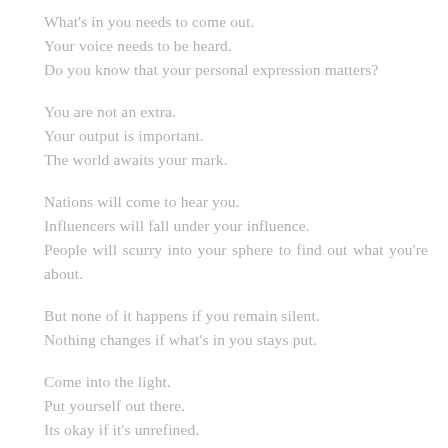What's in you needs to come out.
Your voice needs to be heard.
Do you know that your personal expression matters?
You are not an extra.
Your output is important.
The world awaits your mark.
Nations will come to hear you.
Influencers will fall under your influence.
People will scurry into your sphere to find out what you're about.
But none of it happens if you remain silent.
Nothing changes if what's in you stays put.
Come into the light.
Put yourself out there.
Its okay if it's unrefined.